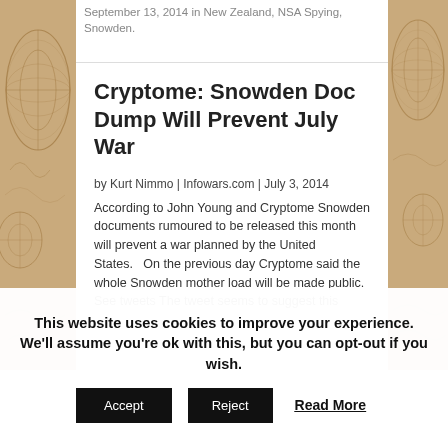September 13, 2014 in New Zealand, NSA Spying, Snowden.
Cryptome: Snowden Doc Dump Will Prevent July War
by Kurt Nimmo | Infowars.com | July 3, 2014
According to John Young and Cryptome Snowden documents rumoured to be released this month will prevent a war planned by the United States.   On the previous day Cryptome said the whole Snowden mother load will be made public. See tweets The tweet seems to suggest this
This website uses cookies to improve your experience. We'll assume you're ok with this, but you can opt-out if you wish.